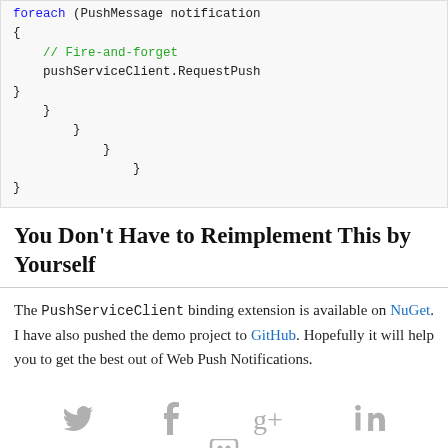[Figure (screenshot): Code block showing closing braces of nested foreach/code structure, with a comment '// Fire-and-forget' in green and 'pushServiceClient.RequestPush' in black, 'foreach' keyword in blue.]
You Don't Have to Reimplement This by Yourself
The PushServiceClient binding extension is available on NuGet. I have also pushed the demo project to GitHub. Hopefully it will help you to get the best out of Web Push Notifications.
[Figure (infographic): Social sharing icons: Twitter bird, Facebook f, Google+, LinkedIn in, and a partial share icon at the bottom center.]